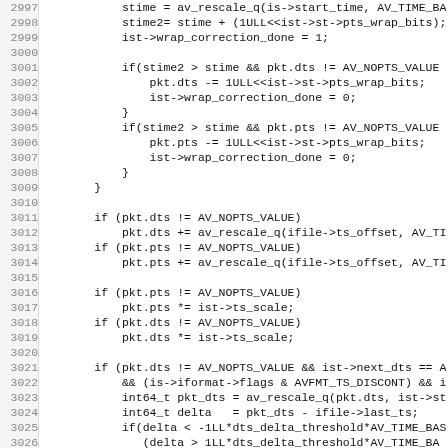[Figure (screenshot): Source code listing showing C code lines 2997-3028, with line numbers on the left and code on the right in monospace font. The code shows PTS/DTS wrap correction logic and timestamp offset adjustment in a media processing context.]